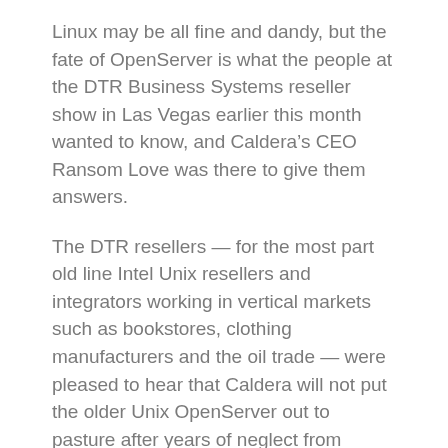Linux may be all fine and dandy, but the fate of OpenServer is what the people at the DTR Business Systems reseller show in Las Vegas earlier this month wanted to know, and Caldera's CEO Ransom Love was there to give them answers.
The DTR resellers — for the most part old line Intel Unix resellers and integrators working in vertical markets such as bookstores, clothing manufacturers and the oil trade — were pleased to hear that Caldera will not put the older Unix OpenServer out to pasture after years of neglect from former owner SCO. In the past, SCO tried to move OpenServer users and resellers to UnixWare — now OpenUnix — but they simply wouldn't budge.
Why not? Because, as Rene Beltran, vice president of sales for DTR, says: “OpenServer already does everything the customers want.” DTR, a value-added reseller that works with resellers, integrators and customers, still sells 20 times